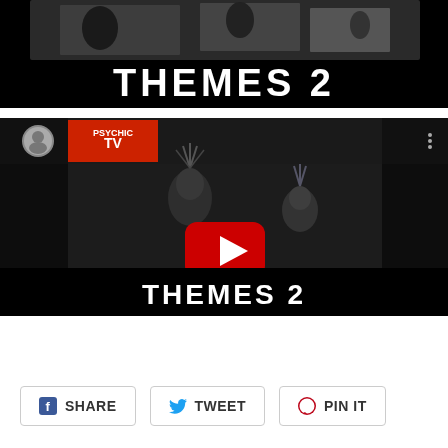[Figure (photo): Top portion of an album cover showing black and white imagery with large white bold text reading THEMES 2 on a black background]
[Figure (screenshot): YouTube video embed showing Psychic TV - Elipse ov Flowers. The thumbnail shows the THEMES 2 album art — black and white photograph with a red YouTube play button overlay in the center. YouTube logo circle avatar and video title visible at top left. Three-dot menu at top right.]
[Figure (infographic): Social share buttons row: Facebook SHARE, Twitter TWEET, Pinterest PIN IT]